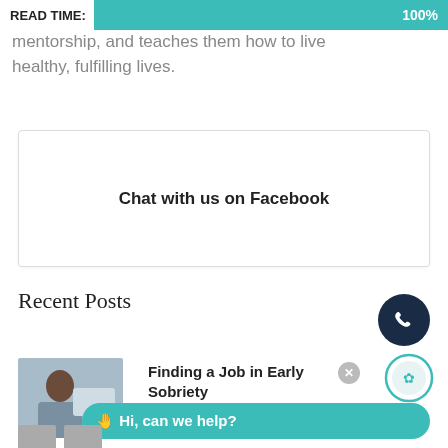READ TIME: 100%
mentorship, and teaches them how to live healthy, fulfilling lives.
Chat with us on Facebook
Recent Posts
[Figure (photo): Man with beard sitting at desk with laptop, working]
Finding a Job in Early Sobriety
READ MORE »
[Figure (infographic): Chat widget with logo, close button, and Hi can we help? speech bubble in teal]